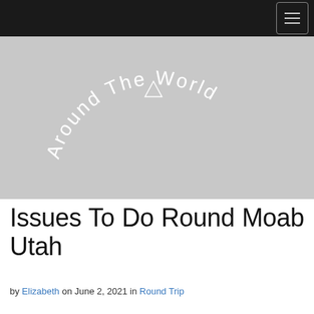Navigation bar with menu button
[Figure (logo): Arched text logo reading 'Around The World' in white thin font on light gray background, with a triangular arrow icon above the word 'The']
Issues To Do Round Moab Utah
by Elizabeth on June 2, 2021 in Round Trip